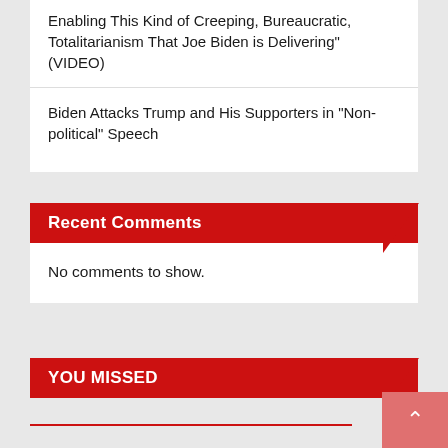Enabling This Kind of Creeping, Bureaucratic, Totalitarianism That Joe Biden is Delivering" (VIDEO)
Biden Attacks Trump and His Supporters in “Non-political” Speech
Recent Comments
No comments to show.
YOU MISSED